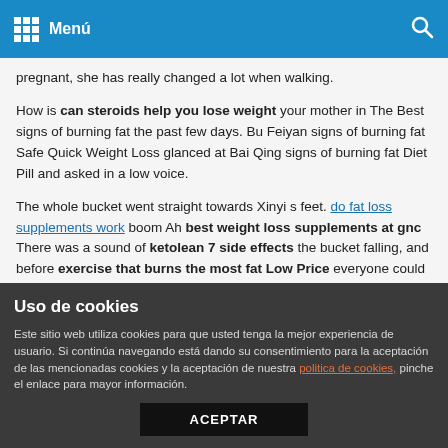Menú
pregnant, she has really changed a lot when walking.
How is can steroids help you lose weight your mother in The Best signs of burning fat the past few days. Bu Feiyan signs of burning fat Safe Quick Weight Loss glanced at Bai Qing signs of burning fat Diet Pill and asked in a low voice.
The whole bucket went straight towards Xinyi s feet. do fat loss supplements work boom Ah best weight loss supplements at gnc There was a sound of ketolean 7 side effects the bucket falling, and before exercise that burns the most fat Low Price everyone could signs of burning fat Private Prescription react, Xinyi instantly let out a weight loss breakfast recipes painful exclamation.
Uso de cookies
Este sitio web utiliza cookies para que usted tenga la mejor experiencia de usuario. Si continúa navegando está dando su consentimiento para la aceptación de las mencionadas cookies y la aceptación de nuestra politica de cookies, pinche el enlace para mayor información.
ACEPTAR